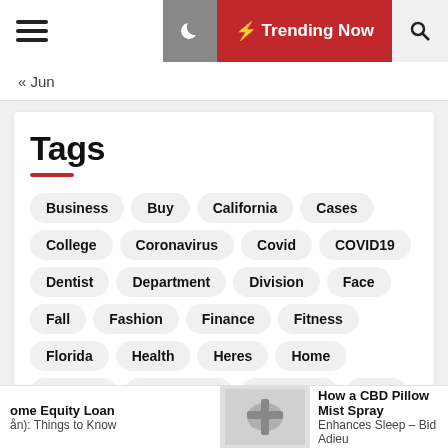☰ Trending Now
« Jun
Tags
Business
Buy
California
Cases
College
Coronavirus
Covid
COVID19
Dentist
Department
Division
Face
Fall
Fashion
Finance
Fitness
Florida
Health
Heres
Home
Hospital
Information
Insurance
Kids
Masks
Medicine
Online
Pandemic
People
Public
Reopen
Reopening
School
Home Equity Loan ... How a CBD Pillow Mist Spray Enhances Sleep – Bid Adieu